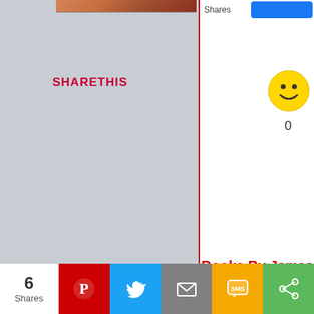[Figure (screenshot): Left panel showing a textured grayish-blue background (wall/paper texture) with a partial image of food at the top, and a red vertical dividing line on the right edge]
SHARETHIS
[Figure (screenshot): Right panel showing white background with Shares label, a blue Share button, a yellow smiley emoji icon, the number 0 below it, and a red underlined heading 'Books By James' with a book cover image below]
Shares
0
Books By James
[Figure (photo): Book cover with pink roses and text, showing a book by James]
6
Shares